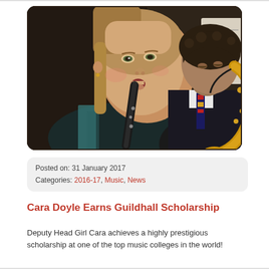[Figure (photo): Two school students playing wind instruments. A girl in the foreground plays a clarinet, and a boy in the background plays a saxophone, both in school uniforms.]
Posted on: 31 January 2017
Categories: 2016-17, Music, News
Cara Doyle Earns Guildhall Scholarship
Deputy Head Girl Cara achieves a highly prestigious scholarship at one of the top music colleges in the world!